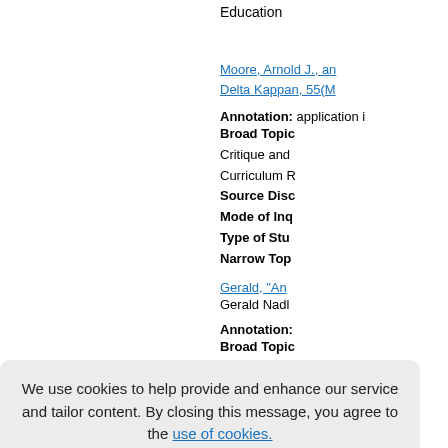Education
Moore, Arnold J., an
Delta Kappan, 55(M
Annotation: application i
Broad Topic:
Critique and
Curriculum R
Source Disc
Mode of Inq
Type of Stu
Narrow Top
Gerald, "An
Gerald Nadl
Annotation:
Broad Topic:
We use cookies to help provide and enhance our service and tailor content. By closing this message, you agree to the use of cookies.
Close